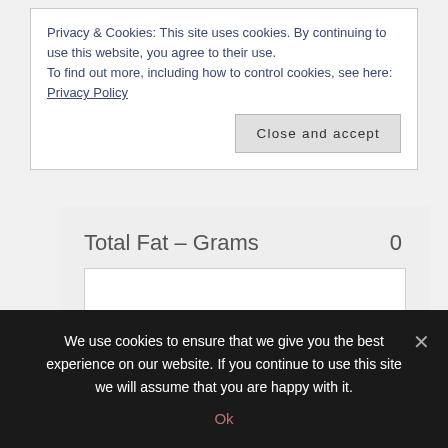Privacy & Cookies: This site uses cookies. By continuing to use this website, you agree to their use.
To find out more, including how to control cookies, see here: Privacy Policy
Close and accept
Total Fat – Grams   0
% DV Fat   0
We use cookies to ensure that we give you the best experience on our website. If you continue to use this site we will assume that you are happy with it.
Ok